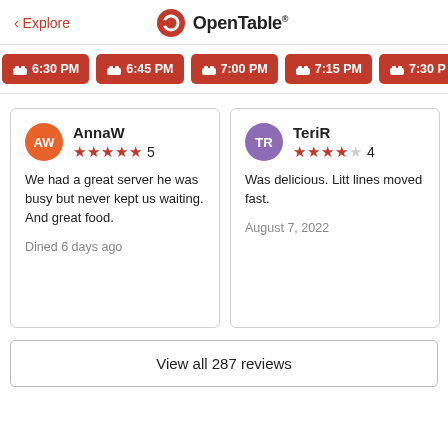< Explore  OpenTable
6:30 PM  6:45 PM  7:00 PM  7:15 PM  7:30 PM
AnnaW ★★★★★ 5
We had a great server he was busy but never kept us waiting. And great food.
Dined 6 days ago
TeriR ★★★★☆ 4
Was delicious. Litt lines moved fast.
August 7, 2022
View all 287 reviews